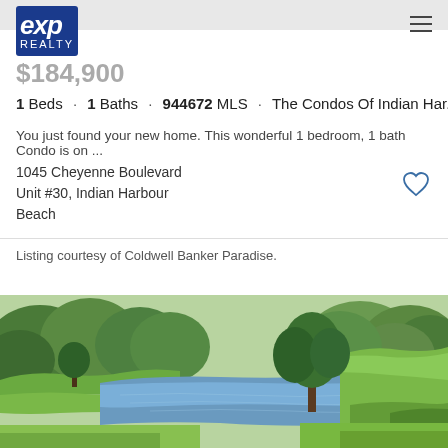[Figure (logo): eXp Realty logo, blue rectangle with white italic 'exp' and 'REALTY' below]
$184,900
1 Beds · 1 Baths · 944672 MLS · The Condos Of Indian Har...
You just found your new home. This wonderful 1 bedroom, 1 bath Condo is on ...
1045 Cheyenne Boulevard
Unit #30, Indian Harbour
Beach
Listing courtesy of Coldwell Banker Paradise.
[Figure (photo): Outdoor photo of a calm blue pond or canal surrounded by lush green trees and grass, sunny day]